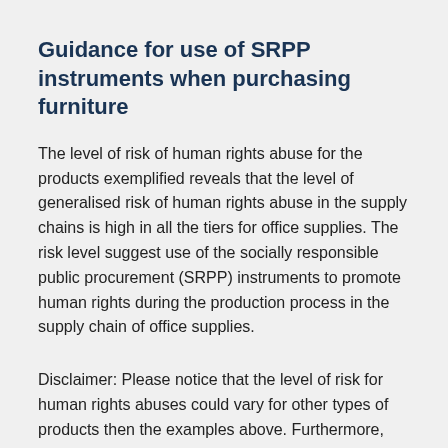Guidance for use of SRPP instruments when purchasing furniture
The level of risk of human rights abuse for the products exemplified reveals that the level of generalised risk of human rights abuse in the supply chains is high in all the tiers for office supplies. The risk level suggest use of the socially responsible public procurement (SRPP) instruments to promote human rights during the production process in the supply chain of office supplies.
Disclaimer: Please notice that the level of risk for human rights abuses could vary for other types of products then the examples above. Furthermore, the risk assessments are based on supply chains for high